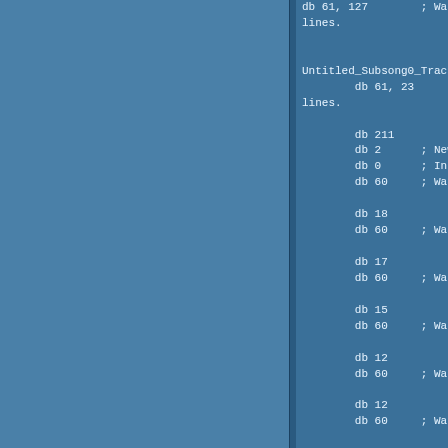db 61, 127        ; Waits for 128 lines.

Untitled_Subsong0_Track1
        db 61, 23          ; Waits for 24 lines.

        db 211
        db 2      ; New Instrument (2).
        db 0      ; Index to an effect block.
        db 60     ; Waits for 1 line.

        db 18
        db 60     ; Waits for 1 line.

        db 17
        db 60     ; Waits for 1 line.

        db 15
        db 60     ; Waits for 1 line.

        db 12
        db 60     ; Waits for 1 line.

        db 12
        db 60     ; Waits for 1 line.

        db 12